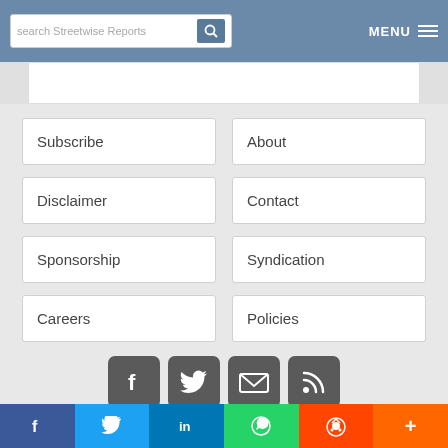search Streetwise Reports | MENU
Subscribe
About
Disclaimer
Contact
Sponsorship
Syndication
Careers
Policies
[Figure (infographic): Social media icons: Facebook, Twitter, Email, RSS feed]
© 2021 Streetwise Reports. All rights reserved. Streetwise Reports is registered with the U.S. Patent and Trademark Office.
[Figure (infographic): Share bar with icons: Facebook, Twitter, LinkedIn, WhatsApp, Reddit, More (+)]